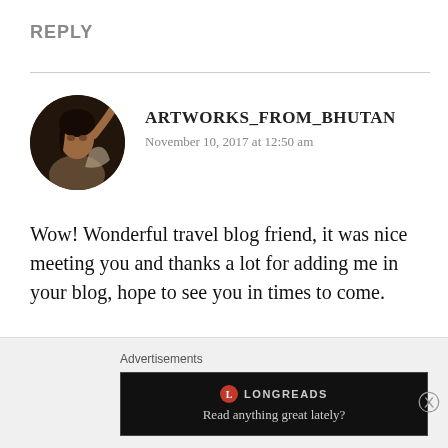REPLY
[Figure (photo): Circular avatar photo of a person (Artworks_From_Bhutan) with dark background]
ARTWORKS_FROM_BHUTAN
November 10, 2017 at 12:50 am
Wow! Wonderful travel blog friend, it was nice meeting you and thanks a lot for adding me in your blog, hope to see you in times to come.

Cheers
Pema Gyelyshen
Bhutan
Advertisements
[Figure (screenshot): Longreads advertisement banner with dark background reading 'Read anything great lately?']